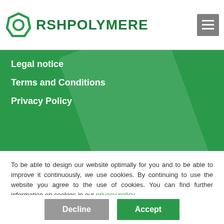[Figure (logo): RSH Polymere logo with green octagon outline icon and text RSHPOLYMERE in green]
Legal notice
Terms and Conditions
Privacy Policy
To be able to design our website optimally for you and to be able to improve it continuously, we use cookies. By continuing to use the website you agree to the use of cookies. You can find further information on cookies in our privacy policy.